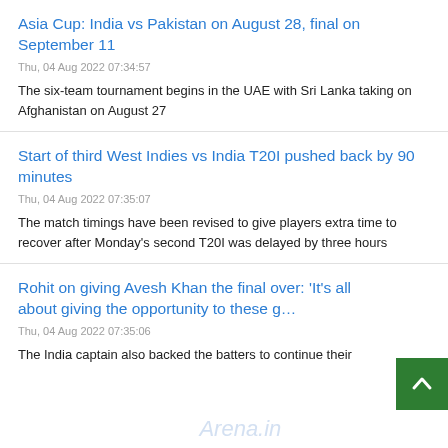Asia Cup: India vs Pakistan on August 28, final on September 11
Thu, 04 Aug 2022 07:34:57
The six-team tournament begins in the UAE with Sri Lanka taking on Afghanistan on August 27
Start of third West Indies vs India T20I pushed back by 90 minutes
Thu, 04 Aug 2022 07:35:07
The match timings have been revised to give players extra time to recover after Monday's second T20I was delayed by three hours
Rohit on giving Avesh Khan the final over: 'It's all about giving the opportunity to these g…'
Thu, 04 Aug 2022 07:35:06
The India captain also backed the batters to continue their…